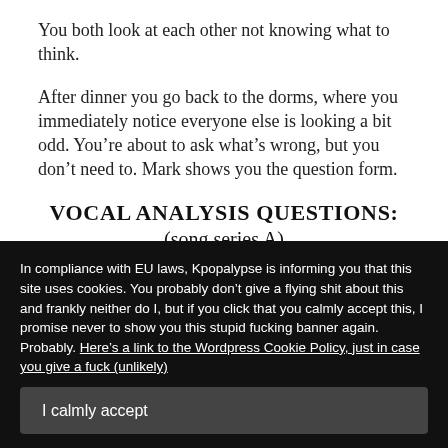You both look at each other not knowing what to think.
After dinner you go back to the dorms, where you immediately notice everyone else is looking a bit odd. You’re about to ask what’s wrong, but you don’t need to. Mark shows you the question form.
VOCAL ANALYSIS QUESTIONS:
(song series A)
In compliance with EU laws, Kpopalypse is informing you that this site uses cookies. You probably don’t give a flying shit about this and frankly neither do I, but if you click that you calmly accept this, I promise never to show you this stupid fucking banner again. Probably. Here’s a link to the Wordpress Cookie Policy, just in case you give a fuck (unlikely)
would you do differently?